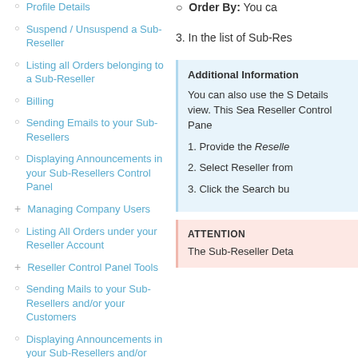Profile Details
Suspend / Unsuspend a Sub-Reseller
Listing all Orders belonging to a Sub-Reseller
Billing
Sending Emails to your Sub-Resellers
Displaying Announcements in your Sub-Resellers Control Panel
Managing Company Users
Listing All Orders under your Reseller Account
Reseller Control Panel Tools
Sending Mails to your Sub-Resellers and/or your Customers
Displaying Announcements in your Sub-Resellers and/or Customers Control
Order By: You ca
3. In the list of Sub-Res
Additional Information
You can also use the S Details view. This Sea Reseller Control Pane
1. Provide the Reselle
2. Select Reseller from
3. Click the Search bu
ATTENTION
The Sub-Reseller Deta